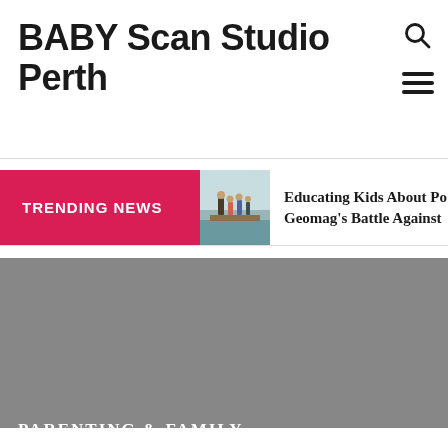BABY Scan Studio Perth
[Figure (other): Search icon (magnifying glass) in top right corner]
[Figure (other): Hamburger menu icon (three horizontal lines) in top right corner]
[Figure (other): Trending news bar with red TRENDING NEWS label, thumbnail image of family at waterfront, and text 'Educating Kids About Po Geomag's Battle Against']
[Figure (photo): Gray hero image background for Parenting & Family section]
PARENTING & FAMILY